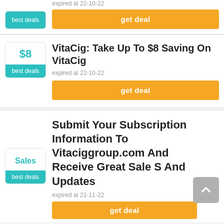[Figure (screenshot): Partial deal card at top showing 'best deals' badge and 'get deal' button, expired at 22-10-22]
expired at 22-10-22
get deal
VitaCig: Take Up To $8 Saving On VitaCig
expired at 22-10-22
get deal
Submit Your Subscription Information To Vitaciggroup.com And Receive Great Sale S And Updates
expired at 21-11-22
get deal (partial)